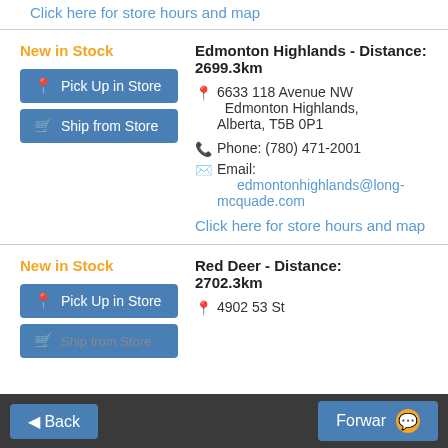Click here for store hours and map
New in Stock
Edmonton Highlands - Distance: 2699.3km
6633 118 Avenue NW Edmonton Highlands, Alberta, T5B 0P1
Phone: (780) 471-2001
Email: edmontonhighlands@long-mcquade.com
Click here for store hours and map
New in Stock
Red Deer - Distance: 2702.3km
4902 53 St
Back  Forward